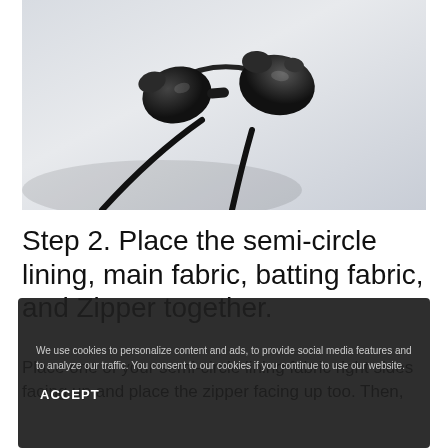[Figure (photo): Close-up photo of black in-ear earphones/earbuds with cables on a light gray/white background]
Step 2. Place the semi-circle lining, main fabric, batting fabric, and Zipper together.
We use cookies to personalize content and ads, to provide social media features and to analyze our traffic. You consent to our cookies if you continue to use our website.
ACCEPT
Place one of your semi-circle lining fabric right sides facing up and place the zipper facing up too. Then,